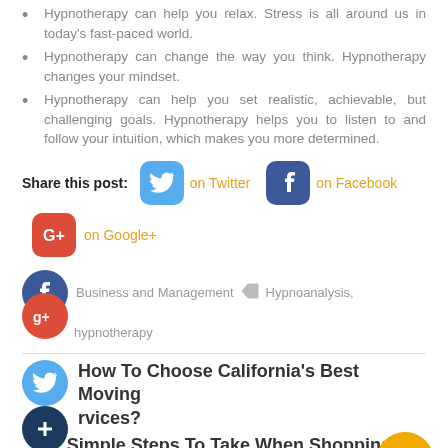Hypnotherapy can help you relax. Stress is all around us in today's fast-paced world.
Hypnotherapy can change the way you think. Hypnotherapy changes your mindset.
Hypnotherapy can help you set realistic, achievable, but challenging goals. Hypnotherapy helps you to listen to and follow your intuition, which makes you more determined.
Share this post: on Twitter on Facebook
on Google+
Business and Management  Hypnoanalysis, hypnotherapy
How To Choose California's Best Moving rvices?
Simple Steps To Take When Shopping For A Size Mattress →